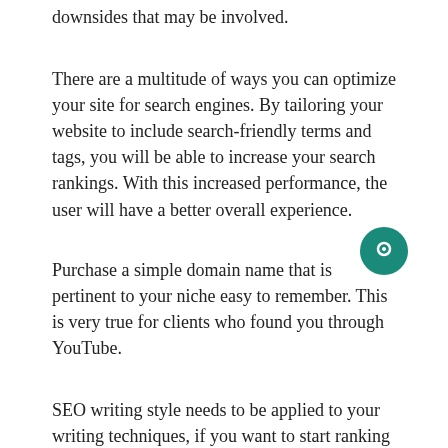downsides that may be involved.
There are a multitude of ways you can optimize your site for search engines. By tailoring your website to include search-friendly terms and tags, you will be able to increase your search rankings. With this increased performance, the user will have a better overall experience.
Purchase a simple domain name that is pertinent to your niche easy to remember. This is very true for clients who found you through YouTube.
SEO writing style needs to be applied to your writing techniques, if you want to start ranking higher with search engines. To do this, simply use your keywords throughout your writing, as much as you can, and still make it flow. Doing this will help to improve your rankings because of keyphrase density.